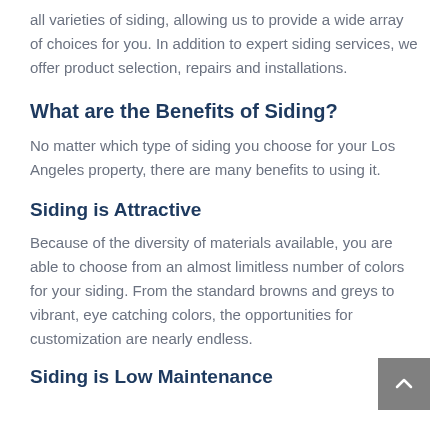all varieties of siding, allowing us to provide a wide array of choices for you. In addition to expert siding services, we offer product selection, repairs and installations.
What are the Benefits of Siding?
No matter which type of siding you choose for your Los Angeles property, there are many benefits to using it.
Siding is Attractive
Because of the diversity of materials available, you are able to choose from an almost limitless number of colors for your siding. From the standard browns and greys to vibrant, eye catching colors, the opportunities for customization are nearly endless.
Siding is Low Maintenance